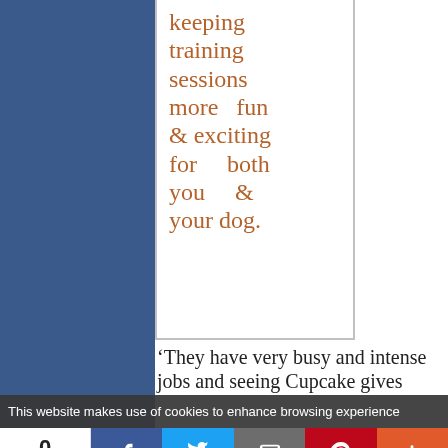keeping training sessions more fun & exciting for both you & your dog.
'They have very busy and intense jobs and seeing Cupcake gives
This website makes use of cookies to enhance browsing experience
0 SHARES